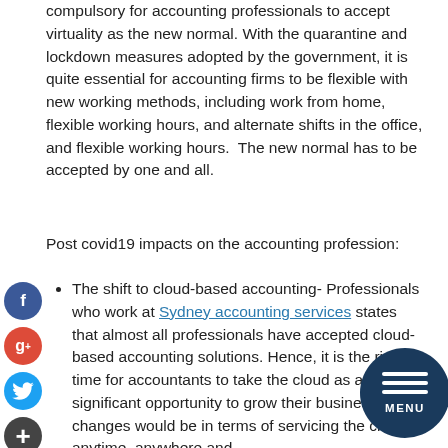compulsory for accounting professionals to accept virtuality as the new normal. With the quarantine and lockdown measures adopted by the government, it is quite essential for accounting firms to be flexible with new working methods, including work from home, flexible working hours, and alternate shifts in the office, and flexible working hours.  The new normal has to be accepted by one and all.
Post covid19 impacts on the accounting profession:
The shift to cloud-based accounting- Professionals who work at Sydney accounting services states that almost all professionals have accepted cloud-based accounting solutions. Hence, it is the right time for accountants to take the cloud as a significant opportunity to grow their business. The changes would be in terms of servicing the clients anytime, anywhere and